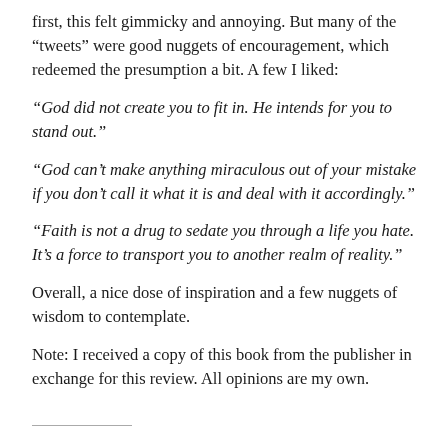first, this felt gimmicky and annoying. But many of the “tweets” were good nuggets of encouragement, which redeemed the presumption a bit. A few I liked:
“God did not create you to fit in. He intends for you to stand out.”
“God can’t make anything miraculous out of your mistake if you don’t call it what it is and deal with it accordingly.”
“Faith is not a drug to sedate you through a life you hate. It’s a force to transport you to another realm of reality.”
Overall, a nice dose of inspiration and a few nuggets of wisdom to contemplate.
Note: I received a copy of this book from the publisher in exchange for this review. All opinions are my own.